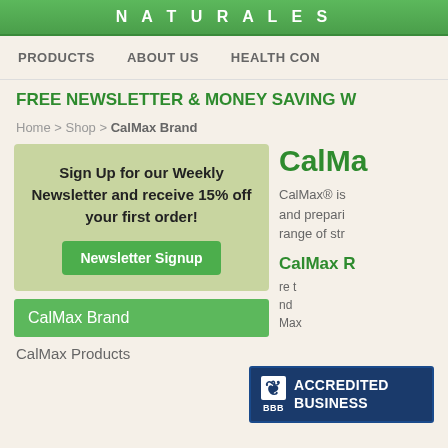NATURALS
PRODUCTS   ABOUT US   HEALTH CON
FREE NEWSLETTER & MONEY SAVING W
Home > Shop > CalMax Brand
Sign Up for our Weekly Newsletter and receive 15% off your first order!
Newsletter Signup
CalMa
CalMax® is and prepari range of str
CalMax Brand
CalMax R
CalMax Products
[Figure (logo): BBB Accredited Business logo badge with blue background, BBB symbol in white and blue, text: ACCREDITED BUSINESS]